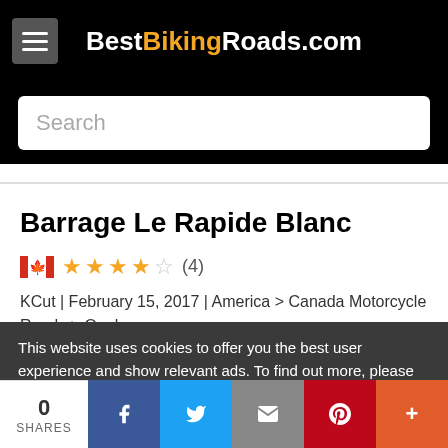BestBikingRoads.com
Search
Barrage Le Rapide Blanc
★★★★☆ (4) KCut | February 15, 2017 | America > Canada Motorcycle Roads > Quebec
This website uses cookies to offer you the best user experience and show relevant ads. To find out more, please read the Privacy Policy and Cookie Policy
0 SHARES | Facebook | Twitter | Email | Pinterest | More